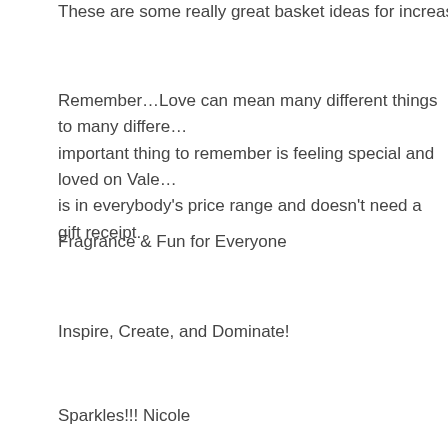These are some really great basket ideas for increasing your sal…
Remember…Love can mean many different things to many diffe… important thing to remember is feeling special and loved on Vale… is in everybody's price range and doesn't need a gift receipt.
Fragrance & Fun for Everyone
Inspire, Create, and Dominate!
Sparkles!!! Nicole